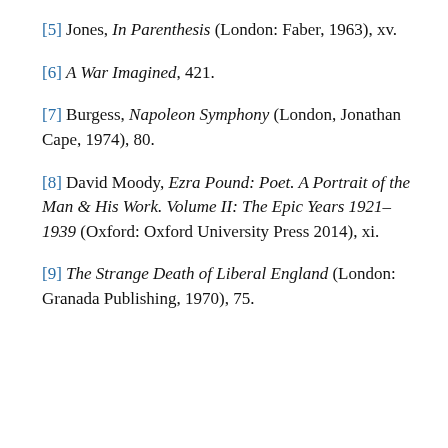[5] Jones, In Parenthesis (London: Faber, 1963), xv.
[6] A War Imagined, 421.
[7] Burgess, Napoleon Symphony (London, Jonathan Cape, 1974), 80.
[8] David Moody, Ezra Pound: Poet. A Portrait of the Man & His Work. Volume II: The Epic Years 1921–1939 (Oxford: Oxford University Press 2014), xi.
[9] The Strange Death of Liberal England (London: Granada Publishing, 1970), 75.